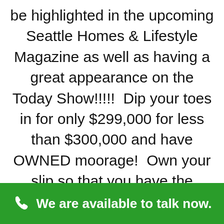be highlighted in the upcoming Seattle Homes & Lifestyle Magazine as well as having a great appearance on the Today Show!!!!!  Dip your toes in for only $299,000 for less than $300,000 and have OWNED moorage!  Own your slip so that you have the security of Lake Union moorage and low dues plus ridiculously low taxes, too.  All the things that make Seattle houseboats more expensive to live on are affordable at its best on this
We are available to talk now.